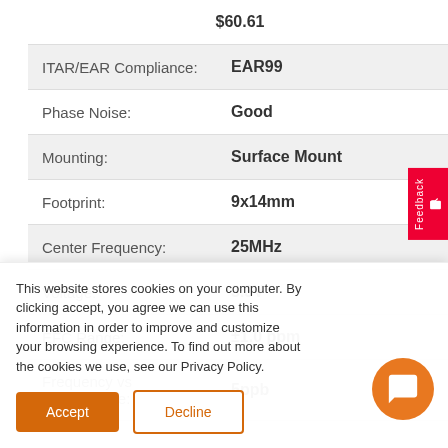| Property | Value |
| --- | --- |
|  | $60.61 |
| ITAR/EAR Compliance: | EAR99 |
| Phase Noise: | Good |
| Mounting: | Surface Mount |
| Footprint: | 9x14mm |
| Center Frequency: | 25MHz |
| Voltage: | 3.3V |
| EFC Range: | ±1.0 ppm |
| Frequency vs Temperature: | 5ppb |
This website stores cookies on your computer. By clicking accept, you agree we can use this information in order to improve and customize your browsing experience. To find out more about the cookies we use, see our Privacy Policy.
Accept
Decline